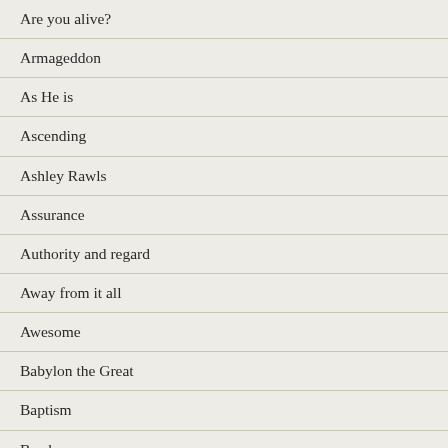Are you alive?
Armageddon
As He is
Ascending
Ashley Rawls
Assurance
Authority and regard
Away from it all
Awesome
Babylon the Great
Baptism
Be clean
Beautiful as the moon